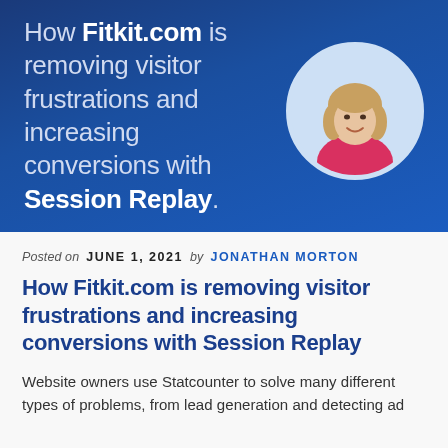[Figure (illustration): Dark blue banner with headline text on the left and a circular portrait photo of a woman with blonde hair wearing a pink jacket on the right. Text reads: 'How Fitkit.com is removing visitor frustrations and increasing conversions with Session Replay.']
Posted on JUNE 1, 2021 by JONATHAN MORTON
How Fitkit.com is removing visitor frustrations and increasing conversions with Session Replay
Website owners use Statcounter to solve many different types of problems, from lead generation and detecting ad